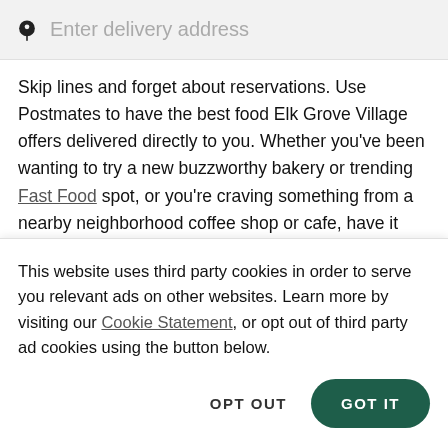[Figure (screenshot): Search bar with location pin icon and placeholder text 'Enter delivery address' on a light gray background]
Skip lines and forget about reservations. Use Postmates to have the best food Elk Grove Village offers delivered directly to you. Whether you've been wanting to try a new buzzworthy bakery or trending Fast Food spot, or you're craving something from a nearby neighborhood coffee shop or cafe, have it delivered to you with Postmates in Elk Grove Village.
Order food near you for pickup in Elk
This website uses third party cookies in order to serve you relevant ads on other websites. Learn more by visiting our Cookie Statement, or opt out of third party ad cookies using the button below.